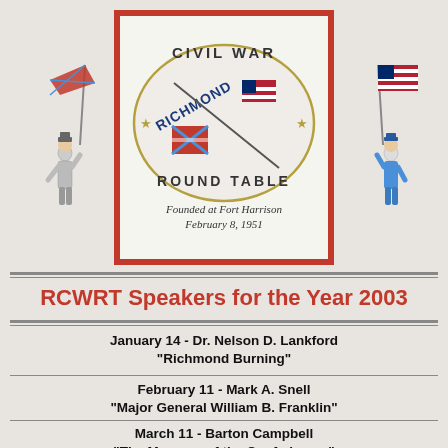[Figure (logo): Civil War Richmond Round Table logo — oval seal with crossed Confederate and Union flags, stars, text reading CIVIL WAR RICHMOND ROUND TABLE, Founded at Fort Harrison February 8, 1951. Flanked by illustrated soldiers: Confederate soldier with flag on left, Union soldier with flag on right.]
RCWRT Speakers for the Year 2003
January 14 - Dr. Nelson D. Lankford "Richmond Burning"
February 11 - Mark A. Snell "Major General William B. Franklin"
March 11 - Barton Campbell "The Museum of the Confederacy"